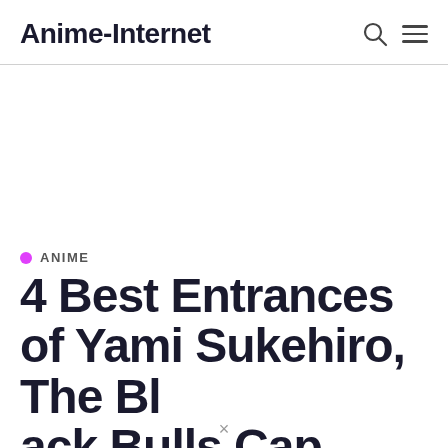Anime-Internet
ANIME
4 Best Entrances of Yami Sukehiro, The Black Bulls Captain